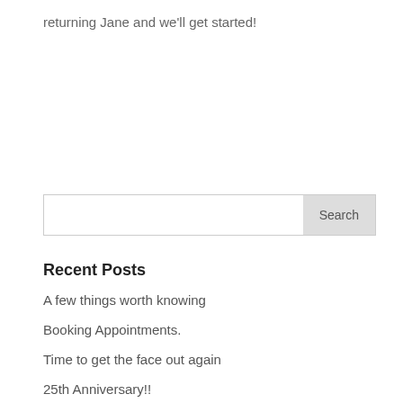returning Jane and we'll get started!
Recent Posts
A few things worth knowing
Booking Appointments.
Time to get the face out again
25th Anniversary!!
Four seasons in one day? Try clip on sunglasses!